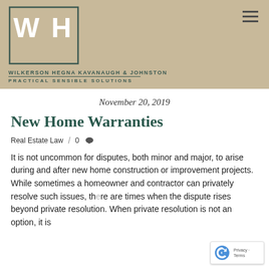[Figure (logo): WH logo with firm name Wilkerson Hegna Kavanaugh & Johnston, Practical Sensible Solutions on tan/beige background]
November 20, 2019
New Home Warranties
Real Estate Law   /   0
It is not uncommon for disputes, both minor and major, to arise during and after new home construction or improvement projects. While sometimes a homeowner and contractor can privately resolve such issues, there are times when the dispute rises beyond private resolution. When private resolution is not an option, it is